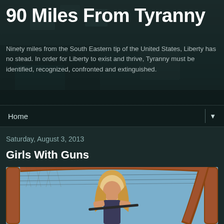90 Miles From Tyranny
Ninety miles from the South Eastern tip of the United States, Liberty has no stead. In order for Liberty to exist and thrive, Tyranny must be identified, recognized, confronted and extinguished.
Home ▼
Saturday, August 3, 2013
Girls With Guns
[Figure (photo): A blonde woman holding a firearm, photographed through a rusty metal chair frame outdoors with power lines and blue sky in the background.]